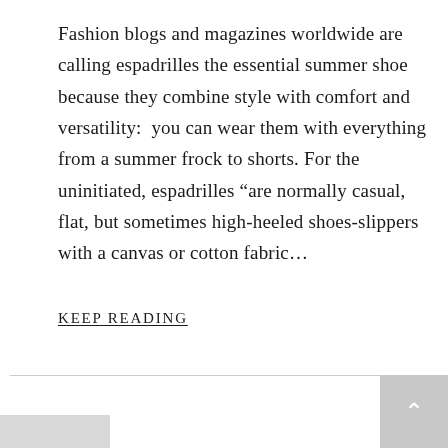Fashion blogs and magazines worldwide are calling espadrilles the essential summer shoe because they combine style with comfort and versatility:  you can wear them with everything from a summer frock to shorts. For the uninitiated, espadrilles “are normally casual, flat, but sometimes high-heeled shoes-slippers with a canvas or cotton fabric...
KEEP READING